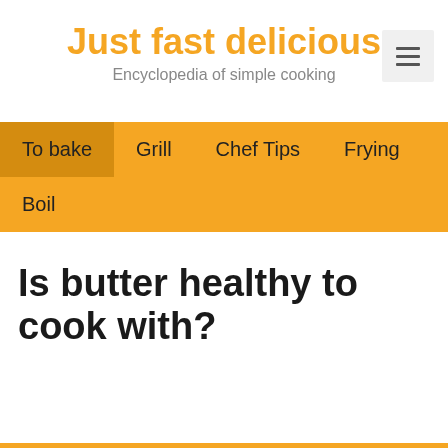Just fast delicious
Encyclopedia of simple cooking
To bake
Grill
Chef Tips
Frying
Boil
Is butter healthy to cook with?